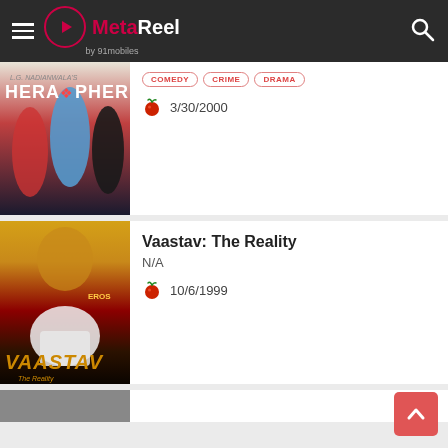MetaReel by 91mobiles
[Figure (screenshot): Hera Pheri movie poster showing comedy/dance scene with actors in colorful outfits]
COMEDY  CRIME  DRAMA
3/30/2000
Vaastav: The Reality
N/A
10/6/1999
[Figure (screenshot): Vaastav: The Reality movie poster showing a man in white suit sitting in meditation pose with dramatic golden lighting]